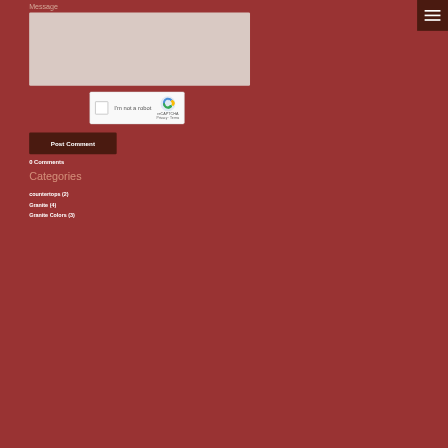Message
[Figure (screenshot): Message textarea input field with a light pinkish-beige background]
[Figure (screenshot): reCAPTCHA widget with checkbox labeled I'm not a robot, reCAPTCHA logo, Privacy and Terms links]
Post Comment
0 Comments
Categories
countertops (2)
Granite (4)
Granite Colors (3)